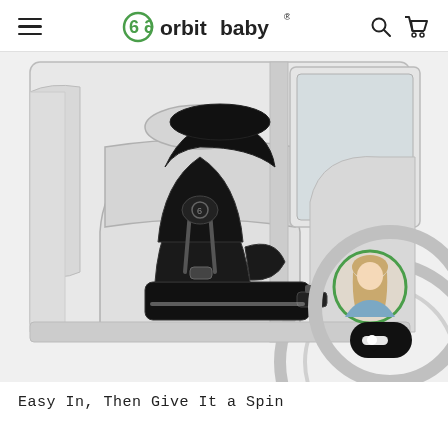orbit baby
[Figure (photo): Orbit Baby infant car seat (black) shown installed in a vehicle rear seat, with a line-drawing illustration of the car interior in the background. A circular widget in the bottom-right shows a customer service agent photo with a green ring border, and below it a black chat button.]
Easy In, Then Give It a Spin